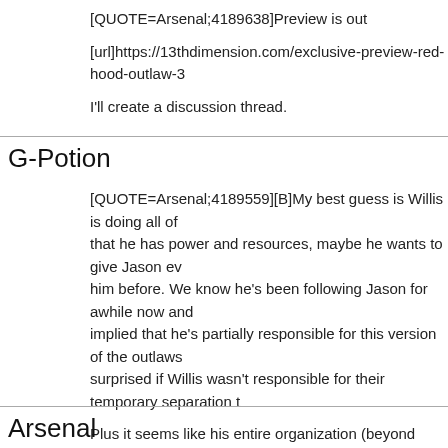[QUOTE=Arsenal;4189638]Preview is out
[url]https://13thdimension.com/exclusive-preview-red-hood-outlaw-3
I'll create a discussion thread.
G-Potion
[QUOTE=Arsenal;4189559][B]My best guess is Willis is doing all of that he has power and resources, maybe he wants to give Jason ev him before. We know he's been following Jason for awhile now and implied that he's partially responsible for this version of the outlaws surprised if Willis wasn't responsible for their temporary separation t
Plus it seems like his entire organization (beyond some irrelevant lo robots controlled by Willis.[/QUOTE]
That made me think... how long has he been planning all this? I can to high heaven every time he had to make major changes to the pla became Robin... no wait... he's dead... but now he's not... and he's a now... time to modify plans to fit in the dark side.
Arsenal